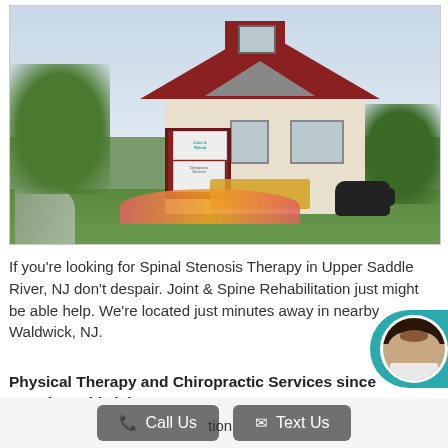[Figure (photo): Exterior photo of Joint & Spine Rehabilitation building in Waldwick, NJ — a large two-story house with cream/red siding, a practice sign in front, surrounded by flowers, lawn, and trees. A decorative cow statue is visible in the front yard.]
If you're looking for Spinal Stenosis Therapy in Upper Saddle River, NJ don't despair. Joint & Spine Rehabilitation just might be able help. We're located just minutes away in nearby Waldwick, NJ.
Physical Therapy and Chiropractic Services since 1995 in Waldwick, NJ
Joint &